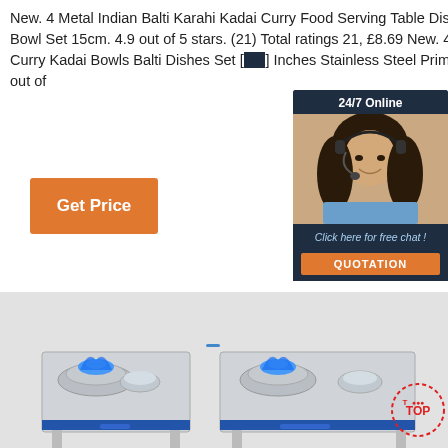New. 4 Metal Indian Balti Karahi Kadai Curry Food Serving Table Dishes Bowl Set 15cm. 4.9 out of 5 stars. (21) Total ratings 21, £8.69 New. 4 X Curry Kadai Bowls Balti Dishes Set [?] Inches Stainless Steel Prima. 4.9 out of
[Figure (other): Orange 'Get Price' button]
[Figure (other): Customer service chat widget with '24/7 Online' header, photo of woman with headset, 'Click here for free chat!' text, and orange QUOTATION button]
[Figure (photo): Two stainless steel commercial wok burner stoves with blue flames, shown side by side on a light grey background. A red and white TOP badge is visible in the lower right.]